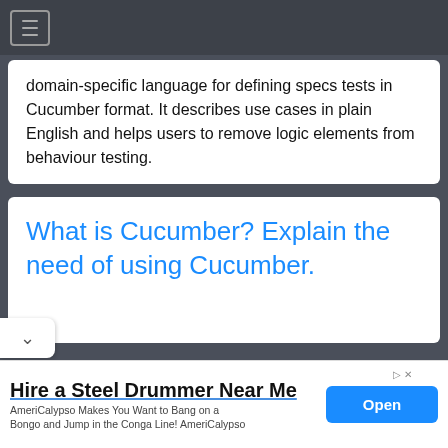domain-specific language for defining specs tests in Cucumber format. It describes use cases in plain English and helps users to remove logic elements from behaviour testing.
What is Cucumber? Explain the need of using Cucumber.
Hire a Steel Drummer Near Me — AmeriCalypso Makes You Want to Bang on a Bongo and Jump in the Conga Line! AmeriCalypso — Open